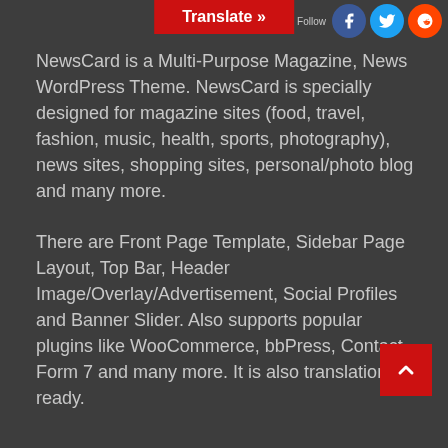[Figure (other): Translate button bar overlay at top center of page]
[Figure (other): Social media icons (Facebook, Twitter, Reddit) in top right corner]
NewsCard is a Multi-Purpose Magazine, News WordPress Theme. NewsCard is specially designed for magazine sites (food, travel, fashion, music, health, sports, photography), news sites, shopping sites, personal/photo blog and many more.
There are Front Page Template, Sidebar Page Layout, Top Bar, Header Image/Overlay/Advertisement, Social Profiles and Banner Slider. Also supports popular plugins like WooCommerce, bbPress, Contact Form 7 and many more. It is also translation ready.
[Figure (other): Red back-to-top arrow button in bottom right corner]